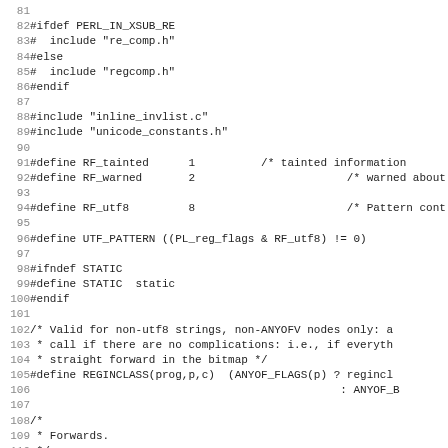Source code listing lines 81-113, C preprocessor/regex code